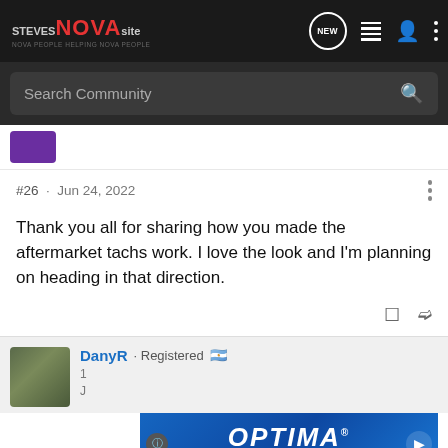STEVES NOVA SITE — NOVA PEOPLE HELPING NOVA PEOPLE
Search Community
#26 · Jun 24, 2022
Thank you all for sharing how you made the aftermarket tachs work. I love the look and I'm planning on heading in that direction.
DanyR · Registered 🇦🇷